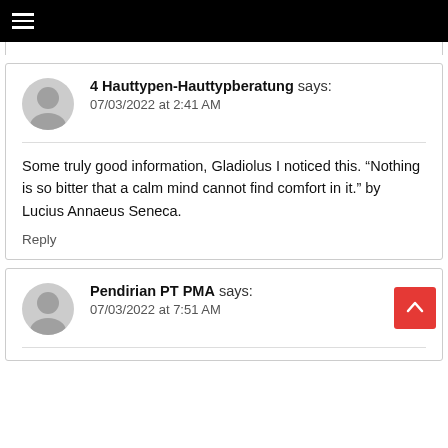≡ (hamburger menu icon)
4 Hauttypen-Hauttypberatung says:
07/03/2022 at 2:41 AM
Some truly good information, Gladiolus I noticed this. “Nothing is so bitter that a calm mind cannot find comfort in it.” by Lucius Annaeus Seneca.
Reply
Pendirian PT PMA says:
07/03/2022 at 7:51 AM